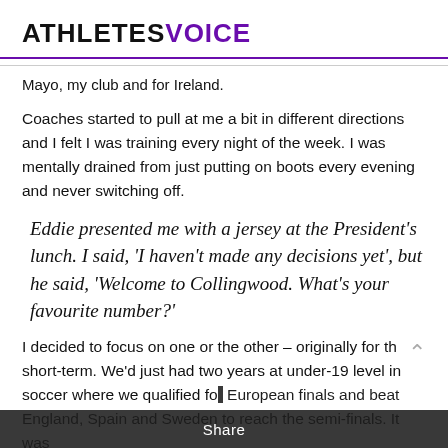ATHLETES VOICE
Mayo, my club and for Ireland.
Coaches started to pull at me a bit in different directions and I felt I was training every night of the week. I was mentally drained from just putting on boots every evening and never switching off.
Eddie presented me with a jersey at the President's lunch. I said, 'I haven't made any decisions yet', but he said, 'Welcome to Collingwood. What's your favourite number?'
I decided to focus on one or the other – originally for the short-term. We'd just had two years at under-19 level in soccer where we qualified for European finals and beat England, Spain and Sweden to reach the semi-finals. It was